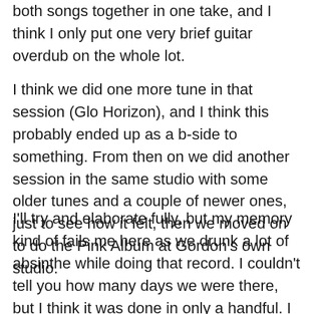both songs together in one take, and I think I only put one very brief guitar overdub on the whole lot.
I think we did one more tune in that session (Glo Horizon), and I think this probably ended up as a b-side to something. From then on we did another session in the same studio with some older tunes and a couple of newer ones, just to see how it felt, then we moved on to do the Pink Album at Gordon's own studio.
I'll try and elaborate fully, but my memory kind of fails me here as we drunk a lot of absinthe while doing that record. I couldn't tell you how many days we were there, but I think it was done in only a handful. I remember Tim standing in the hallway of this massive run-down industrial block that the studio was located in and yelling out echoed vocals for some tracks, covering each other with coffee cups and being essentially the whole thing